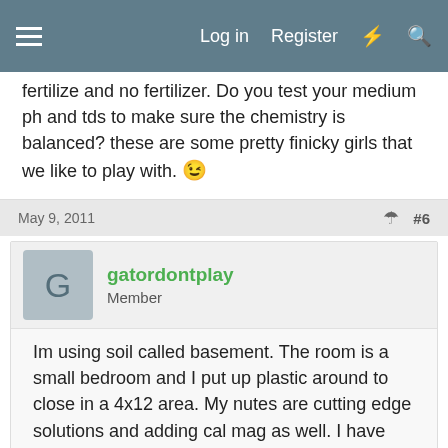Log in  Register
fertilize and no fertilizer. Do you test your medium ph and tds to make sure the chemistry is balanced? these are some pretty finicky girls that we like to play with. 😉
May 9, 2011    #6
gatordontplay
Member
Im using soil called basement. The room is a small bedroom and I put up plastic around to close in a 4x12 area. My nutes are cutting edge solutions and adding cal mag as well. I have good airflow. a room fan as and running ducting with a fan and carbon filter blowing outside. Im checking ph but not ppm. The one is a little droopy if i dont water every 2-3days. Its fluctuated up and down since the beginning of flowering and the leaves curl in sparatic areas of the plant. Heres the full story. I started with three seeds and unfortunately I had